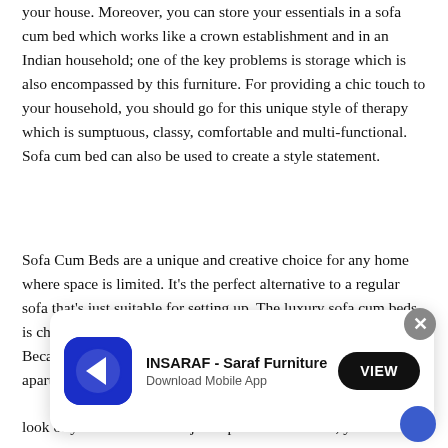your house. Moreover, you can store your essentials in a sofa cum bed which works like a crown establishment and in an Indian household; one of the key problems is storage which is also encompassed by this furniture. For providing a chic touch to your household, you should go for this unique style of therapy which is sumptuous, classy, comfortable and multi-functional. Sofa cum bed can also be used to create a style statement.
Sofa Cum Beds are a unique and creative choice for any home where space is limited. It's the perfect alternative to a regular sofa that's just suitable for setting up. The luxury sofa cum beds is cheap and affordable option and is best for living rooms. Because of its ease of use and versatility, most modern apartments prefer a sofa cum bed to a regular sofa. Craftsmen
[Figure (other): App download advertisement overlay for INSARAF - Saraf Furniture app with VIEW button and close X button]
look of your home. It's not just a piece of furniture; you're